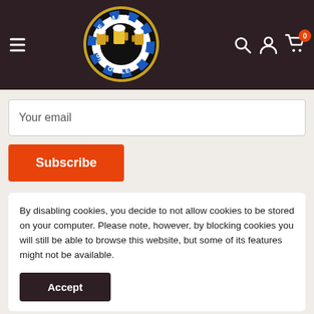[Figure (logo): German Gift Outlet logo — circular badge with beer mugs, Bavarian diamond pattern, black background with gold border]
Your email
Subscribe
By disabling cookies, you decide to not allow cookies to be stored on your computer. Please note, however, by blocking cookies you will still be able to browse this website, but some of its features might not be available.
Accept